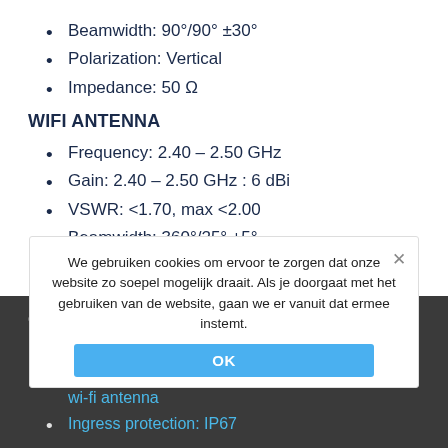Beamwidth: 90°/90° ±30°
Polarization: Vertical
Impedance: 50 Ω
WIFI ANTENNA
Frequency: 2.40 – 2.50 GHz
Gain: 2.40 – 2.50 GHz : 6 dBi
VSWR: <1.70, max <2.00
Beamwidth: 360°/25° ±5°
Polarization: Vertical
Impedance: 50 Ω
OTHERS
Materials: ABS, aluminum, PTFE, Fiberglass
Connector type: RJ45 + Nf + Nm in external omni wi-fi antenna
Ingress protection: IP67